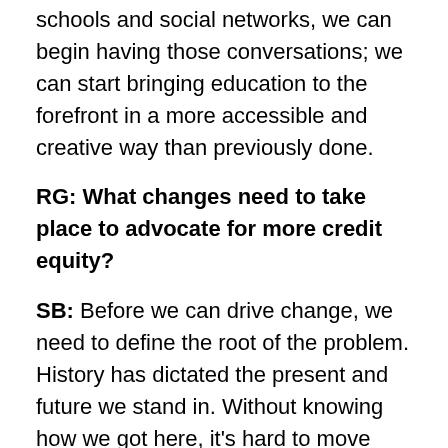schools and social networks, we can begin having those conversations; we can start bringing education to the forefront in a more accessible and creative way than previously done.
RG: What changes need to take place to advocate for more credit equity?
SB: Before we can drive change, we need to define the root of the problem. History has dictated the present and future we stand in. Without knowing how we got here, it's hard to move forward. And once we can define the problem, we need to shift our mindset; the problems and solutions can feel a bit distant from the audience. Too many consumers still are unsure of where credit falls against other necessities, such as